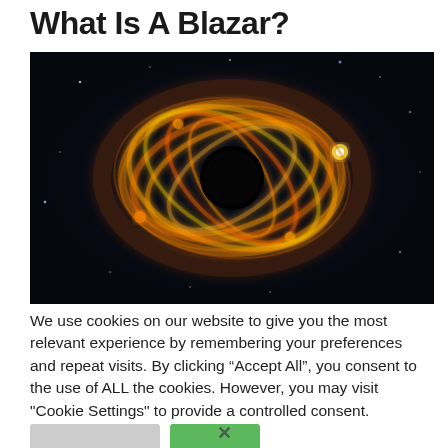What Is A Blazar?
[Figure (photo): Artistic rendering of a blazar or black hole with swirling golden/orange energy rings against a dark space background]
We use cookies on our website to give you the most relevant experience by remembering your preferences and repeat visits. By clicking “Accept All”, you consent to the use of ALL the cookies. However, you may visit "Cookie Settings" to provide a controlled consent.